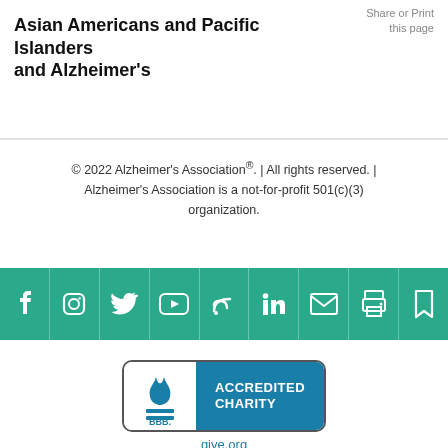Share or Print this page
Asian Americans and Pacific Islanders and Alzheimer's
© 2022 Alzheimer's Association®. | All rights reserved. | Alzheimer's Association is a not-for-profit 501(c)(3) organization.
[Figure (infographic): Social media icon bar with teal background showing icons for Facebook, Instagram, Twitter, YouTube, Blog/RSS, LinkedIn, Email, Print, and Bookmark]
[Figure (logo): BBB Accredited Charity badge with give.org text below]